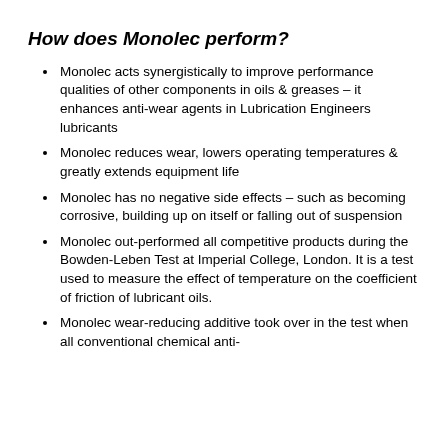How does Monolec perform?
Monolec acts synergistically to improve performance qualities of other components in oils & greases – it enhances anti-wear agents in Lubrication Engineers lubricants
Monolec reduces wear, lowers operating temperatures & greatly extends equipment life
Monolec has no negative side effects – such as becoming corrosive, building up on itself or falling out of suspension
Monolec out-performed all competitive products during the Bowden-Leben Test at Imperial College, London. It is a test used to measure the effect of temperature on the coefficient of friction of lubricant oils.
Monolec wear-reducing additive took over in the test when all conventional chemical anti-